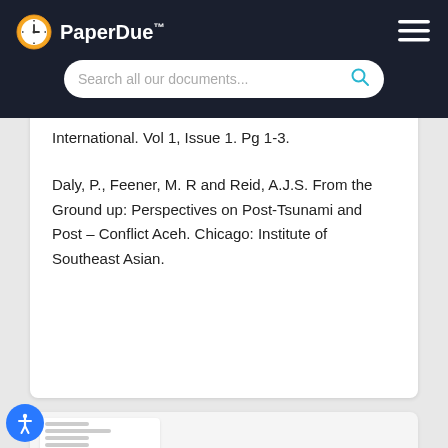[Figure (logo): PaperDue logo with clock icon and hamburger menu on dark background]
[Figure (screenshot): Search bar with placeholder text 'Search all our documents...' and cyan search icon]
International. Vol 1, Issue 1. Pg 1-3.
Daly, P., Feener, M. R and Reid, A.J.S. From the Ground up: Perspectives on Post-Tsunami and Post – Conflict Aceh. Chicago: Institute of Southeast Asian.
[Figure (screenshot): Partial view of a document page thumbnail at the bottom of the screen]